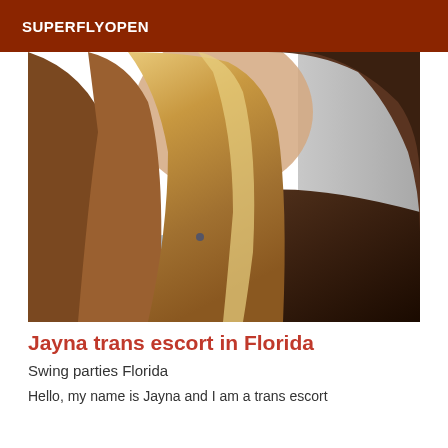SUPERFLYOPEN
[Figure (photo): Close-up photo of a person with long straight reddish-brown and blonde hair, wearing a light blue shirt and dark jacket, face partially visible]
Jayna trans escort in Florida
Swing parties Florida
Hello, my name is Jayna and I am a trans escort